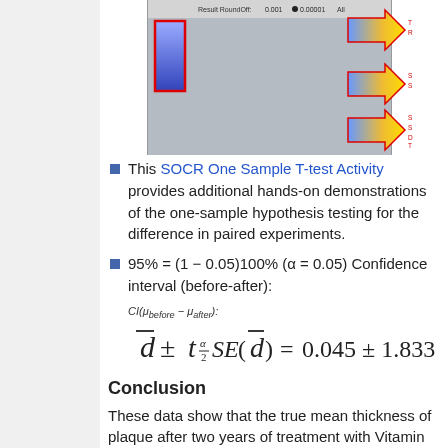[Figure (screenshot): SOCR One Sample T-test Activity screenshot showing a bar chart with a red-bordered blue bar and three colored arrow indicators pointing right, with partial labels on the right edge]
This SOCR One Sample T-test Activity provides additional hands-on demonstrations of the one-sample hypothesis testing for the difference in paired experiments.
95% = (1 − 0.05)100% (α = 0.05) Confidence interval (before-after):
Conclusion
These data show that the true mean thickness of plaque after two years of treatment with Vitamin E is statistically significantly different than before the treatment (p =0.000216). In other words, vitamin E appears to be an